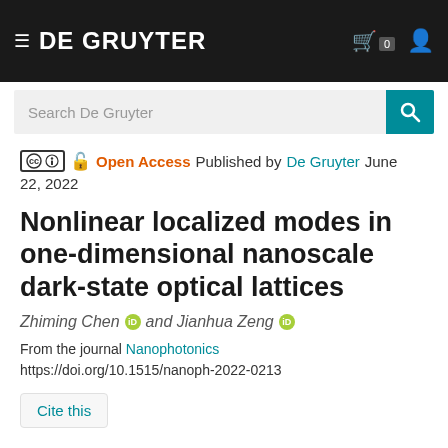DE GRUYTER
Search De Gruyter
Open Access  Published by De Gruyter June 22, 2022
Nonlinear localized modes in one-dimensional nanoscale dark-state optical lattices
Zhiming Chen and Jianhua Zeng
From the journal Nanophotonics
https://doi.org/10.1515/nanoph-2022-0213
Cite this